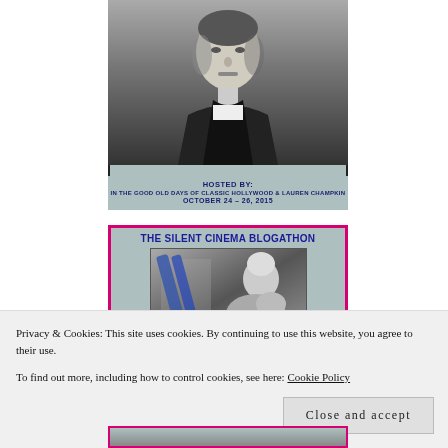[Figure (photo): Blogathon promotional image: black-and-white portrait of a man in a dark scarf/jacket against a grayish background with teal border. Bottom area shows text: HOSTED BY: / IN THE GOOD OLD DAYS OF CLASSIC HOLLYWOOD & LAUREN CHAMPKIN / OCTOBER 24 - 26, 2015]
[Figure (photo): The Silent Cinema Blogathon banner with teal background, pink/magenta border. Title text: THE SILENT CINEMA BLOGATHON. Below the title is a black-and-white photo of a woman with an animal (possibly a lion or large cat).]
Privacy & Cookies: This site uses cookies. By continuing to use this website, you agree to their use.
To find out more, including how to control cookies, see here: Cookie Policy
Close and accept
[Figure (photo): Partial view of another blogathon banner at the bottom of the page, showing a pink/magenta border and the top portion of a black-and-white image.]